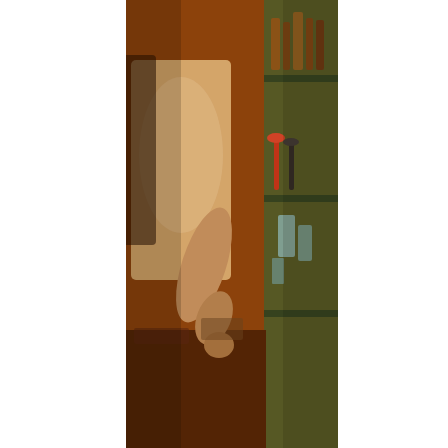[Figure (photo): A bartender or bar worker in a white t-shirt standing behind a bar counter with drinks, glasses, and shelves visible in a warm orange-lit bar setting.]
Soon his wife Elaine came by and he explained how we'd come to find them, and she too was genuinely welcoming to us.Â  She took our orders and learned all of our names, including the boys.Â  It was as if, in 10 minutes, we'd been welcomed in as a part of the community.Â  Even though we'd travelled 7 hours to get there, the fact that we'd taken the time to learn about this place and them was enough for them to return to favor and find out a little about us.Â  There's nothing to make you feel better at the end of a long day of travel